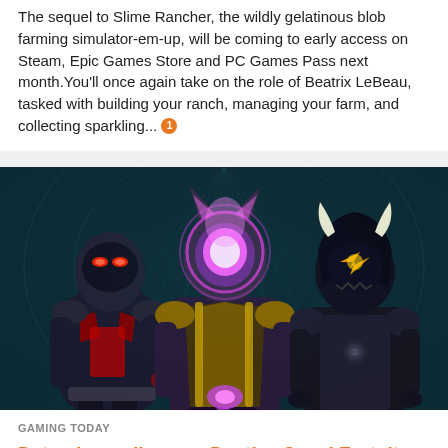The sequel to Slime Rancher, the wildly gelatinous blob farming simulator-em-up, will be coming to early access on Steam, Epic Games Store and PC Games Pass next month.You'll once again take on the role of Beatrix LeBeau, tasked with building your ranch, managing your farm, and collecting sparkling...
[Figure (photo): Three Fortnite characters in dark armored suits with glowing accents - left character has red glowing eyes, center character has pink/purple glowing head and gold accents, right character has white horns. Background is teal/dark game environment.]
GAMING TODAY
Dataminers discover Destiny 2 and Fortnite are getting a crossover
Have you ever thought to yourself that Destiny 2 just needs more Fortnite characters in it? Well... fear, or fear not, as data miners have discovered a number of bizarre and unexpected assets within Destiny